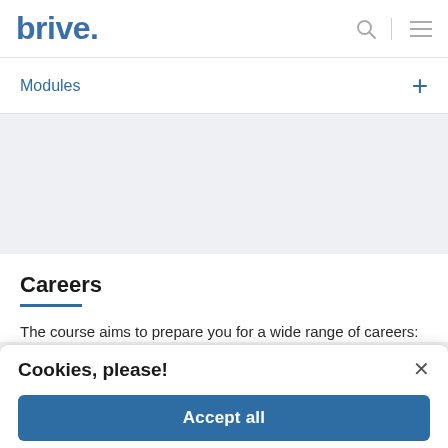brive.
Modules
Careers
The course aims to prepare you for a wide range of careers:
Cookies, please!
We use cookies on our platform to provide you with a perfect browsing experience.
Accept all